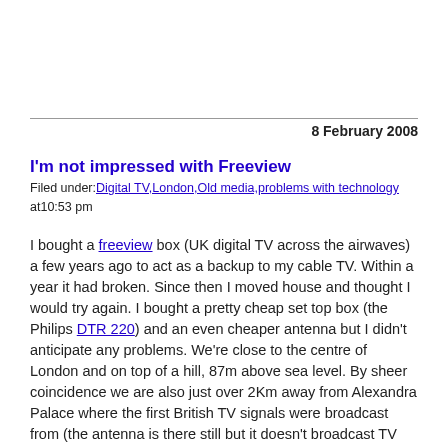8 February 2008
I'm not impressed with Freeview
Filed under:Digital TV,London,Old media,problems with technology at10:53 pm
I bought a freeview box (UK digital TV across the airwaves) a few years ago to act as a backup to my cable TV. Within a year it had broken. Since then I moved house and thought I would try again. I bought a pretty cheap set top box (the Philips DTR 220) and an even cheaper antenna but I didn't anticipate any problems. We're close to the centre of London and on top of a hill, 87m above sea level. By sheer coincidence we are also just over 2Km away from Alexandra Palace where the first British TV signals were broadcast from (the antenna is there still but it doesn't broadcast TV any more I don't think). However, when I plugged everything in I could barely get any channels at all (and that by wandering around the room clutching the antenna).